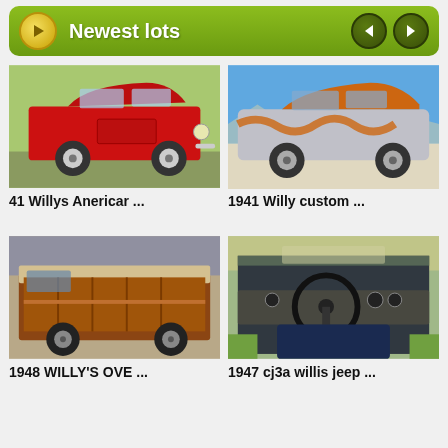Newest lots
[Figure (photo): Red 1941 Willys coupe, classic hot rod, parked outside on grass]
41 Willys Anericar ...
[Figure (photo): 1941 Willy custom coupe, silver and orange paint with flame graphics]
1941 Willy custom ...
[Figure (photo): 1948 Willy's Ove wagon with wood panel sides, brown and tan]
1948 WILLY'S OVE ...
[Figure (photo): 1947 cj3a willis jeep interior showing steering wheel and dashboard]
1947 cj3a willis jeep ...